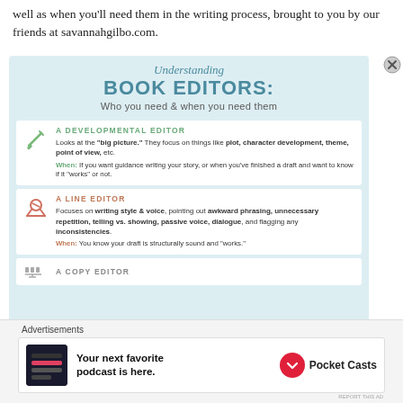well as when you'll need them in the writing process, brought to you by our friends at savannahgilbo.com.
[Figure (infographic): Infographic titled 'Understanding BOOK EDITORS: Who you need & when you need them' with sections for A Developmental Editor, A Line Editor, and A Copy Editor (partially visible)]
Advertisements
[Figure (other): Advertisement for Pocket Casts: 'Your next favorite podcast is here.']